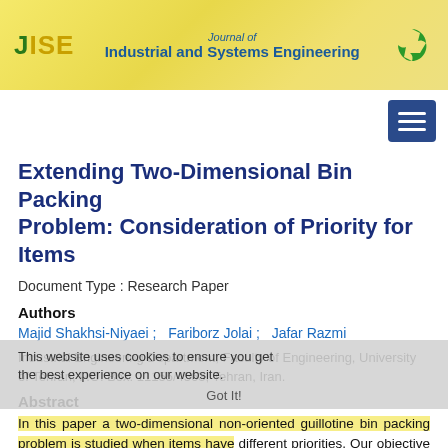[Figure (logo): JISE Journal of Industrial and Systems Engineering header banner with yellow/gold background, green recycling-like logo on right]
Extending Two-Dimensional Bin Packing Problem: Consideration of Priority for Items
Document Type : Research Paper
Authors
Majid Shakhsi-Niyaei ;   Fariborz Jolai ;   Jafar Razmi
Industrial Engineering Department, Faculty of Engineering, University of Tehran, P.O. Box: 11155/4563, Tehran, Iran.
Abstract
In this paper a two-dimensional non-oriented guillotine bin packing problem is studied when items have different priorities. Our objective is to maximize the total profit which is total revenues minus costs of used bins